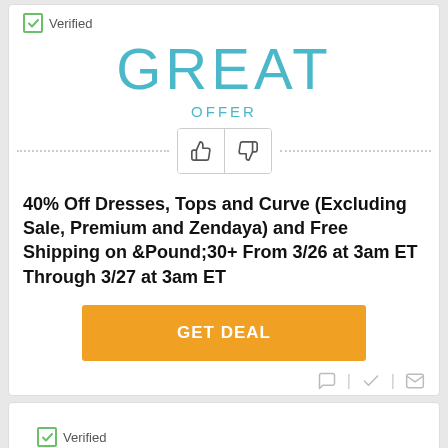✓ Verified
GREAT
OFFER
40% Off Dresses, Tops and Curve (Excluding Sale, Premium and Zendaya) and Free Shipping on &Pound;30+ From 3/26 at 3am ET Through 3/27 at 3am ET
GET DEAL
✓ Verified